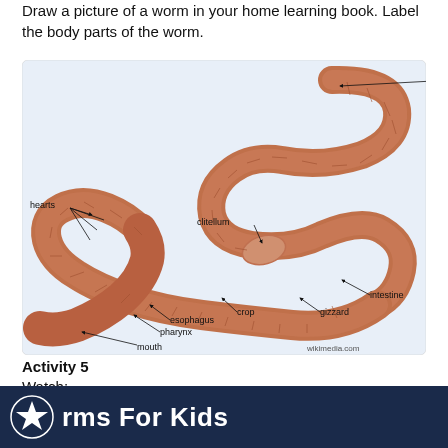Draw a picture of a worm in your home learning book. Label the body parts of the worm.
[Figure (illustration): Anatomical diagram of an earthworm with labeled body parts: anus, clitellum, hearts, intestine, gizzard, crop, esophagus, pharynx, mouth. Credit: wikimedia.com]
Activity 5
Watch:
rms For Kids